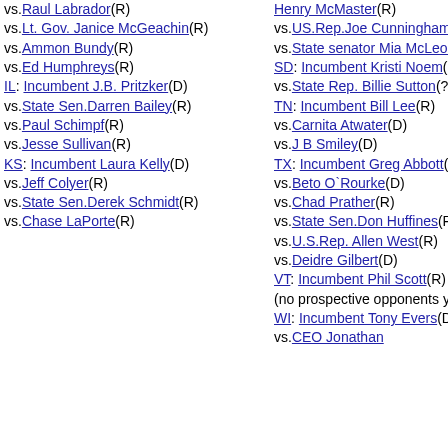vs.Raul Labrador(R)
vs.Lt. Gov. Janice McGeachin(R)
vs.Ammon Bundy(R)
vs.Ed Humphreys(R)
IL: Incumbent J.B. Pritzker(D)
vs.State Sen.Darren Bailey(R)
vs.Paul Schimpf(R)
vs.Jesse Sullivan(R)
KS: Incumbent Laura Kelly(D)
vs.Jeff Colyer(R)
vs.State Sen.Derek Schmidt(R)
vs.Chase LaPorte(R)
Henry McMaster(R)
vs.US.Rep.Joe Cunningham(D)
vs.State senator Mia McLeod(D)
SD: Incumbent Kristi Noem(R)
vs.State Rep. Billie Sutton(? D)
TN: Incumbent Bill Lee(R)
vs.Carnita Atwater(D)
vs.J B Smiley(D)
TX: Incumbent Greg Abbott(R)
vs.Beto O`Rourke(D)
vs.Chad Prather(R)
vs.State Sen.Don Huffines(R)
vs.U.S.Rep. Allen West(R)
vs.Deidre Gilbert(D)
VT: Incumbent Phil Scott(R)
(no prospective opponents yet)
WI: Incumbent Tony Evers(D)
vs.CEO Jonathan